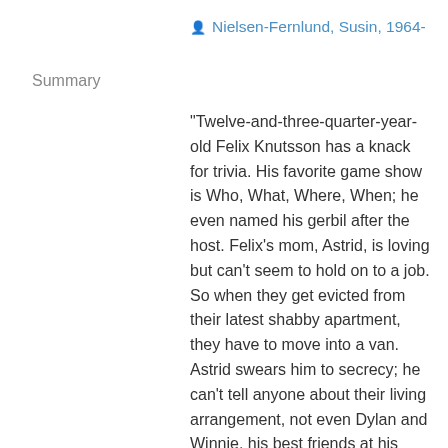Nielsen-Fernlund, Susin, 1964-
Summary
"Twelve-and-three-quarter-year-old Felix Knutsson has a knack for trivia. His favorite game show is Who, What, Where, When; he even named his gerbil after the host. Felix's mom, Astrid, is loving but can't seem to hold on to a job. So when they get evicted from their latest shabby apartment, they have to move into a van. Astrid swears him to secrecy; he can't tell anyone about their living arrangement, not even Dylan and Winnie, his best friends at his new school. If he does, she warns him, he'll be taken away from her and put in foster care. As their circumstances go from bad to worse, Felix gets a chance to audition for a junior edition of Who, What, Where, When, and